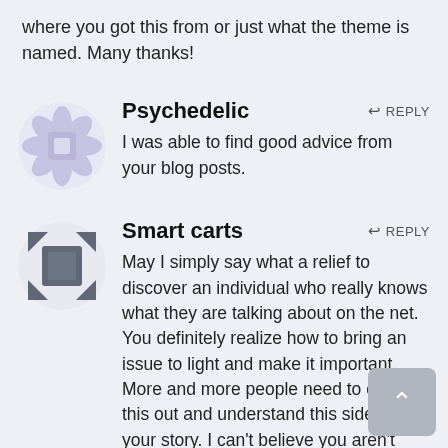where you got this from or just what the theme is named. Many thanks!
[Figure (illustration): Purple/lavender geometric flower-like avatar icon for user Psychedelic]
Psychedelic
REPLY
I was able to find good advice from your blog posts.
[Figure (illustration): Dark gray geometric square/diamond pattern avatar icon for user Smart carts]
Smart carts
REPLY
May I simply say what a relief to discover an individual who really knows what they are talking about on the net. You definitely realize how to bring an issue to light and make it important. More and more people need to check this out and understand this side of your story. I can't believe you aren't more popular since you certainly have the gift.